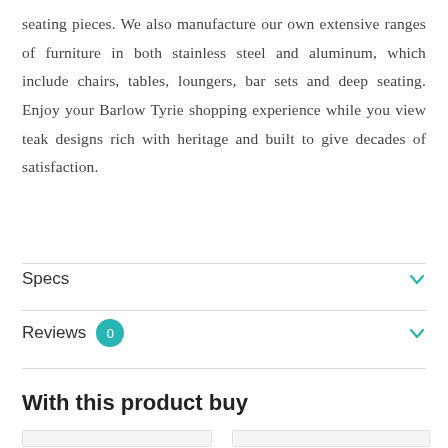seating pieces. We also manufacture our own extensive ranges of furniture in both stainless steel and aluminum, which include chairs, tables, loungers, bar sets and deep seating. Enjoy your Barlow Tyrie shopping experience while you view teak designs rich with heritage and built to give decades of satisfaction.
Specs
Reviews 0
With this product buy